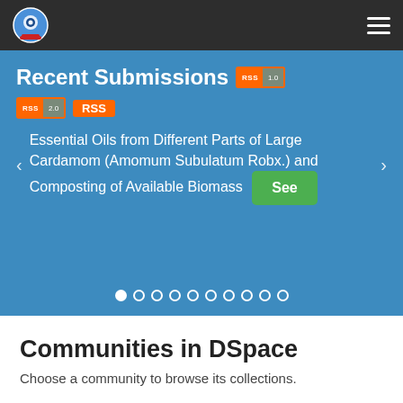[Figure (screenshot): Website navigation bar with university logo on left and hamburger menu icon on right, dark background]
Recent Submissions RSS 1.0 RSS 2.0 RSS
Essential Oils from Different Parts of Large Cardamom (Amomum Subulatum Robx.) and Composting of Available Biomass See
Communities in DSpace
Choose a community to browse its collections.